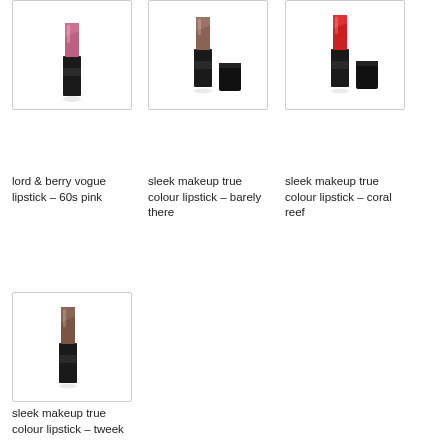lipstick – omg
lipstick – bare all
cherry oak
[Figure (photo): Lord & Berry Vogue lipstick in 60s pink – black tube with pink bullet]
lord & berry vogue lipstick – 60s pink
[Figure (photo): Sleek Makeup True Colour lipstick barely there – brown lipstick with black cap]
sleek makeup true colour lipstick – barely there
[Figure (photo): Sleek Makeup True Colour lipstick coral reef – red lipstick with black cap]
sleek makeup true colour lipstick – coral reef
[Figure (photo): Sleek Makeup True Colour lipstick tweek – brown nude lipstick in black tube]
sleek makeup true colour lipstick – tweek